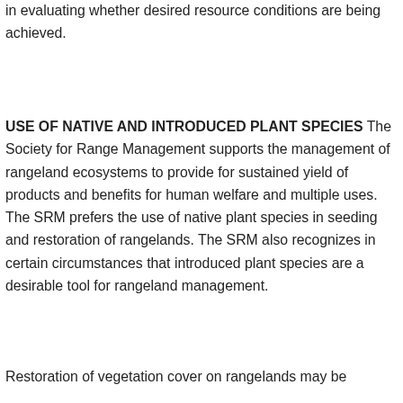in evaluating whether desired resource conditions are being achieved.
USE OF NATIVE AND INTRODUCED PLANT SPECIES
The Society for Range Management supports the management of rangeland ecosystems to provide for sustained yield of products and benefits for human welfare and multiple uses. The SRM prefers the use of native plant species in seeding and restoration of rangelands. The SRM also recognizes in certain circumstances that introduced plant species are a desirable tool for rangeland management.
Restoration of vegetation cover on rangelands may be